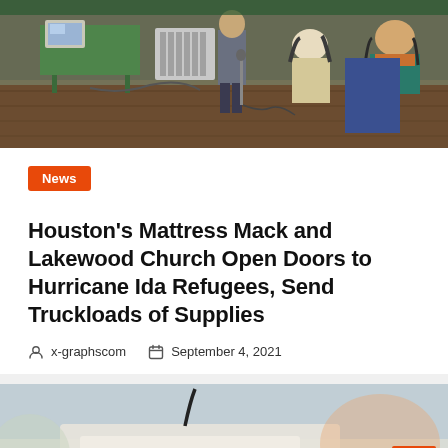[Figure (photo): People seated in chairs at an indoor meeting or event, viewed from behind, with a presenter standing at the front near a laptop and microphone on a wooden floor.]
News
Houston's Mattress Mack and Lakewood Church Open Doors to Hurricane Ida Refugees, Send Truckloads of Supplies
x-graphscom   September 4, 2021
[Figure (photo): Close-up photo of an object with 'WITHIN' text and decorative eyes design, blurred background.]